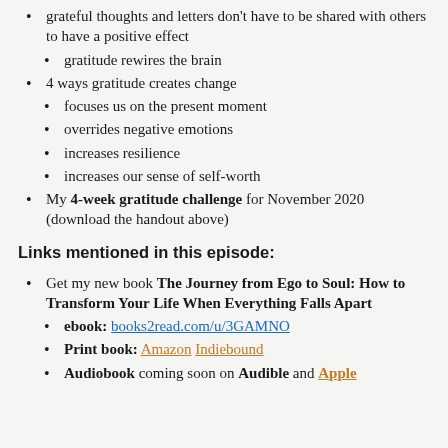grateful thoughts and letters don't have to be shared with others to have a positive effect
gratitude rewires the brain
4 ways gratitude creates change
focuses us on the present moment
overrides negative emotions
increases resilience
increases our sense of self-worth
My 4-week gratitude challenge for November 2020 (download the handout above)
Links mentioned in this episode:
Get my new book The Journey from Ego to Soul: How to Transform Your Life When Everything Falls Apart
ebook: books2read.com/u/3GAMNO
Print book: Amazon  Indiebound
Audiobook coming soon on Audible and Apple